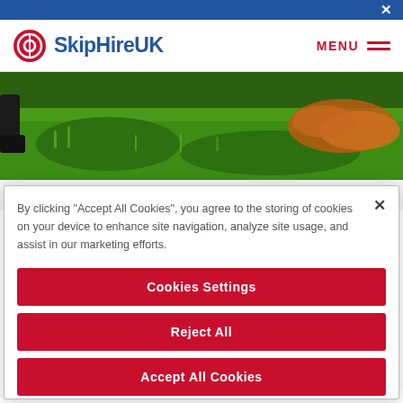SkipHireUK — mobile website header with navigation menu
[Figure (photo): Hero image showing a garden lawn with green grass and fallen autumn leaves, person's feet visible at left edge]
How to Refresh Your Garden This
By clicking “Accept All Cookies”, you agree to the storing of cookies on your device to enhance site navigation, analyze site usage, and assist in our marketing efforts.
Cookies Settings
Reject All
Accept All Cookies